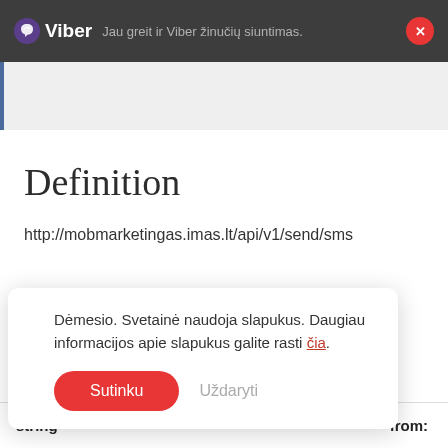Viber — Jau greit ir Viber žinučių siuntimas.
[Figure (screenshot): Grey content bar with blue left border]
Definition
http://mobmarketingas.imas.lt/api/v1/send/sms
Dėmesio. Svetainė naudoja slapukus. Daugiau informacijos apie slapukus galite rasti čia.
Sutinku  Uždaryti
string  from: